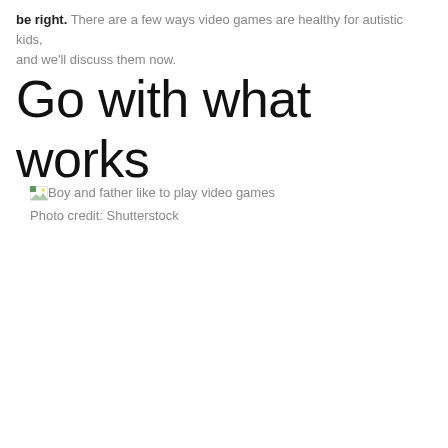be right. There are a few ways video games are healthy for autistic kids, and we'll discuss them now.
Go with what works
[Figure (photo): Broken image placeholder with alt text: Boy and father like to play video games. Photo credit: Shutterstock.]